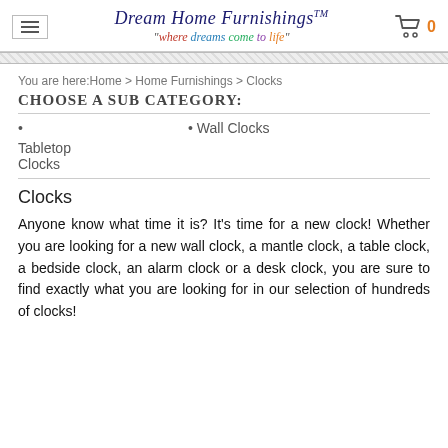Dream Home Furnishings™ — "where dreams come to life"
You are here: Home > Home Furnishings > Clocks
CHOOSE A SUB CATEGORY:
• Tabletop Clocks
• Wall Clocks
Clocks
Anyone know what time it is? It's time for a new clock! Whether you are looking for a new wall clock, a mantle clock, a table clock, a bedside clock, an alarm clock or a desk clock, you are sure to find exactly what you are looking for in our selection of hundreds of clocks!